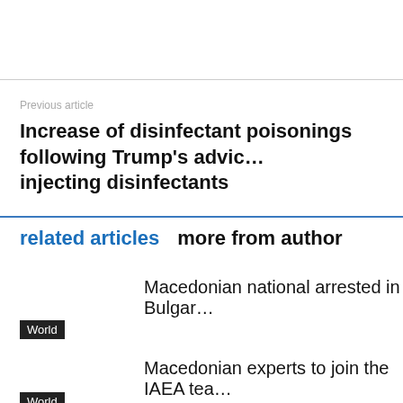Previous article
Increase of disinfectant poisonings following Trump's advice on injecting disinfectants
related articles   more from author
Macedonian national arrested in Bulgar…
World
Macedonian experts to join the IAEA tea…
World